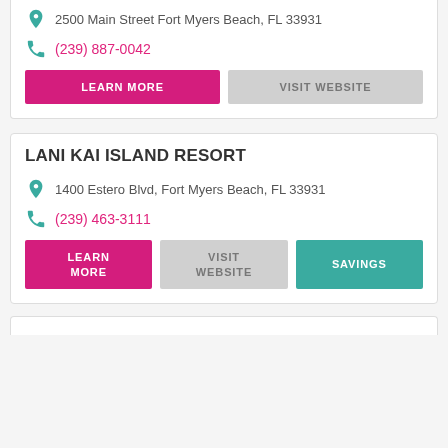2500 Main Street Fort Myers Beach, FL 33931
(239) 887-0042
LEARN MORE
VISIT WEBSITE
LANI KAI ISLAND RESORT
1400 Estero Blvd, Fort Myers Beach, FL 33931
(239) 463-3111
LEARN MORE
VISIT WEBSITE
SAVINGS